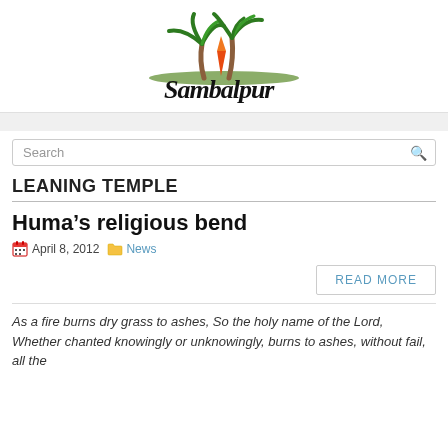[Figure (logo): Sambalpur logo with palm trees and text 'Sambalpur' in handwritten script]
LEANING TEMPLE
Huma's religious bend
April 8, 2012   News
READ MORE
As a fire burns dry grass to ashes, So the holy name of the Lord, Whether chanted knowingly or unknowingly, burns to ashes, without fail, all the